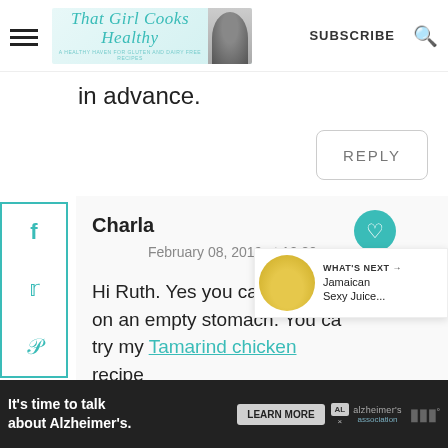That Girl Cooks Healthy — SUBSCRIBE
in advance.
REPLY
[Figure (other): Facebook share social sidebar button]
[Figure (other): Twitter share social sidebar button]
[Figure (other): Pinterest share social sidebar button]
Charla
February 08, 2019 at 10:20 am
Hi Ruth. Yes you can drink ta... on an empty stomach. You can also try my Tamarind chicken recipe
WHAT'S NEXT → Jamaican Sexy Juice...
It's time to talk about Alzheimer's. LEARN MORE